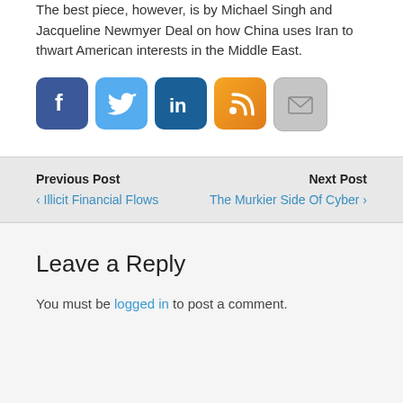The best piece, however, is by Michael Singh and Jacqueline Newmyer Deal on how China uses Iran to thwart American interests in the Middle East.
[Figure (other): Row of five social media sharing buttons: Facebook (blue), Twitter (light blue), LinkedIn (dark blue), RSS (orange), Email (grey)]
Previous Post
< Illicit Financial Flows
Next Post
The Murkier Side Of Cyber >
Leave a Reply
You must be logged in to post a comment.